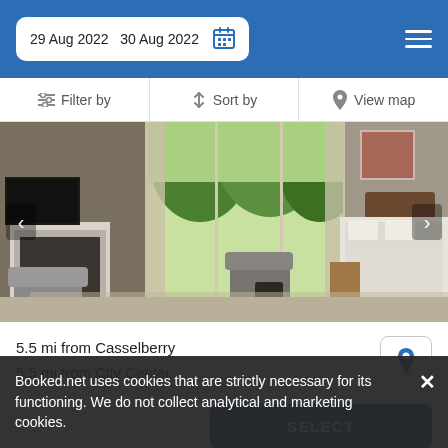29 Aug 2022  30 Aug 2022
Filter by  Sort by  View map
[Figure (photo): Interior photo of a bedroom/living area with grey armchairs, fireplace, large glass patio doors with garden view, and a white-bedded double bed]
5.5 mi from Casselberry
5.5 mi from City Center
SELECT
Booked.net uses cookies that are strictly necessary for its functioning. We do not collect analytical and marketing cookies.